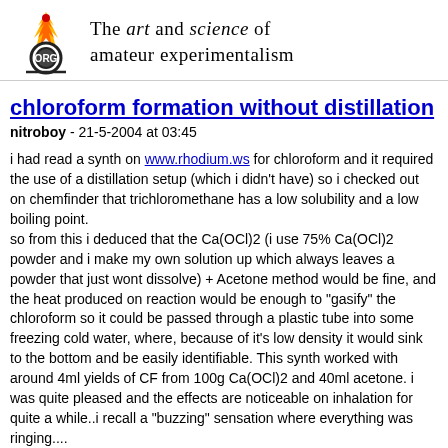The art and science of amateur experimentalism
chloroform formation without distillation
nitroboy - 21-5-2004 at 03:45
i had read a synth on www.rhodium.ws for chloroform and it required the use of a distillation setup (which i didn't have) so i checked out on chemfinder that trichloromethane has a low solubility and a low boiling point.
so from this i deduced that the Ca(OCl)2 (i use 75% Ca(OCl)2 powder and i make my own solution up which always leaves a powder that just wont dissolve) + Acetone method would be fine, and the heat produced on reaction would be enough to "gasify" the chloroform so it could be passed through a plastic tube into some freezing cold water, where, because of it's low density it would sink to the bottom and be easily identifiable. This synth worked with around 4ml yields of CF from 100g Ca(OCl)2 and 40ml acetone. i was quite pleased and the effects are noticeable on inhalation for quite a while..i recall a "buzzing" sensation where everything was ringing....
but now i have read some stuff on here about chlorobutanol requiring CF, and i'm wondering if my CF will be pure enough, as i was just extracting with a syringe. would it be?